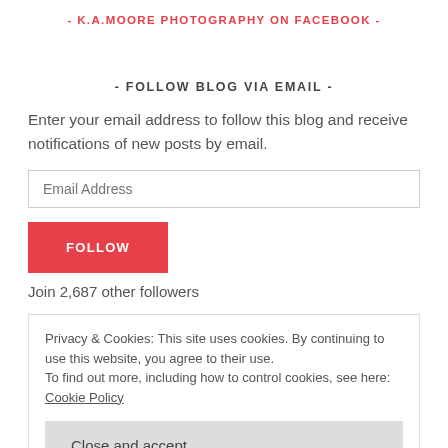- K.A.MOORE PHOTOGRAPHY ON FACEBOOK -
- FOLLOW BLOG VIA EMAIL -
Enter your email address to follow this blog and receive notifications of new posts by email.
Join 2,687 other followers
Privacy & Cookies: This site uses cookies. By continuing to use this website, you agree to their use.
To find out more, including how to control cookies, see here: Cookie Policy
FOLLOW ME ON TWITTER